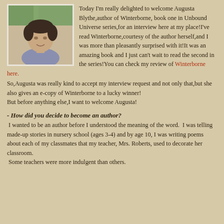[Figure (photo): Photo of Augusta Blythe, a woman with short dark hair wearing a grey top, photographed outdoors with greenery in the background.]
Today I'm really delighted to welcome Augusta Blythe,author of Winterborne, book one in Unbound Universe series,for an interview here at my place!I've read Winterborne,courtesy of the author herself,and I was more than pleasantly surprised with it!It was an amazing book and I just can't wait to read the second in the series!You can check my review of Winterborne here.
So,Augusta was really kind to accept my interview request and not only that,but she also gives an e-copy of Winterborne to a lucky winner!
But before anything else,I want to welcome Augusta!
- How did you decide to become an author?
I wanted to be an author before I understood the meaning of the word.  I was telling made-up stories in nursery school (ages 3-4) and by age 10, I was writing poems about each of my classmates that my teacher, Mrs. Roberts, used to decorate her classroom.  Some teachers were more indulgent than others.